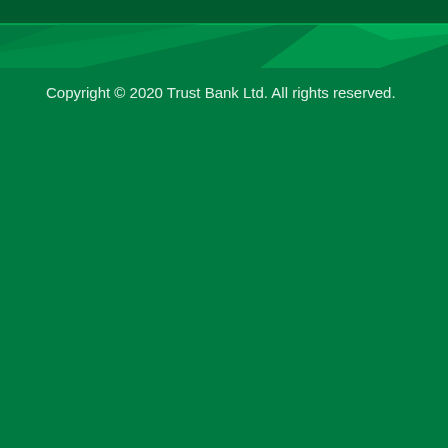[Figure (illustration): Decorative green diagonal banner/stripe design at the top of the page with lighter green geometric shapes]
Copyright © 2020 Trust Bank Ltd. All rights reserved.